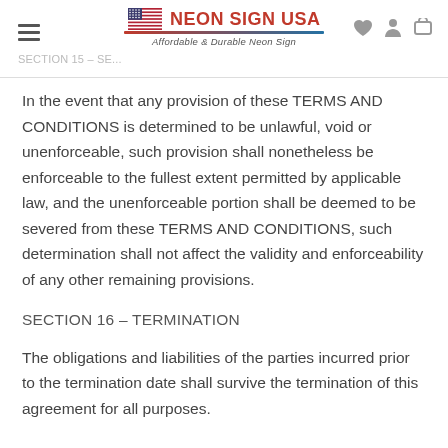NEON SIGN USA — Affordable & Durable Neon Sign
In the event that any provision of these TERMS AND CONDITIONS is determined to be unlawful, void or unenforceable, such provision shall nonetheless be enforceable to the fullest extent permitted by applicable law, and the unenforceable portion shall be deemed to be severed from these TERMS AND CONDITIONS, such determination shall not affect the validity and enforceability of any other remaining provisions.
SECTION 16 – TERMINATION
The obligations and liabilities of the parties incurred prior to the termination date shall survive the termination of this agreement for all purposes.